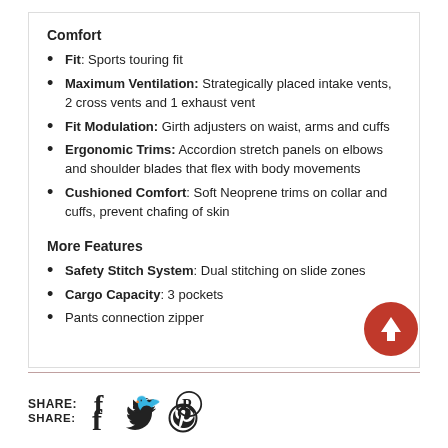Comfort
Fit: Sports touring fit
Maximum Ventilation: Strategically placed intake vents, 2 cross vents and 1 exhaust vent
Fit Modulation: Girth adjusters on waist, arms and cuffs
Ergonomic Trims: Accordion stretch panels on elbows and shoulder blades that flex with body movements
Cushioned Comfort: Soft Neoprene trims on collar and cuffs, prevent chafing of skin
More Features
Safety Stitch System: Dual stitching on slide zones
Cargo Capacity: 3 pockets
Pants connection zipper
SHARE: